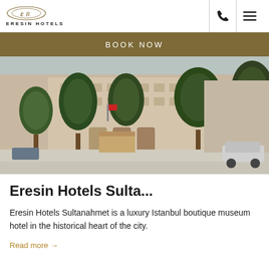ERESIN HOTELS
BOOK NOW
[Figure (photo): Exterior street view of Eresin Hotels Sultanahmet building with trees lining the sidewalk and a car on the street]
Eresin Hotels Sulta...
Eresin Hotels Sultanahmet is a luxury Istanbul boutique museum hotel in the historical heart of the city.
Read more →